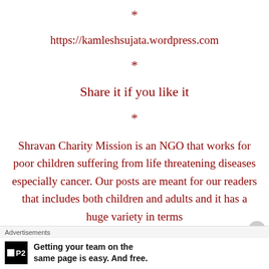*
https://kamleshsujata.wordpress.com
*
Share it if you like it
*
Shravan Charity Mission is an NGO that works for poor children suffering from life threatening diseases especially cancer. Our posts are meant for our readers that includes both children and adults and it has a huge variety in terms of content...
Advertisements
Getting your team on the same page is easy. And free.